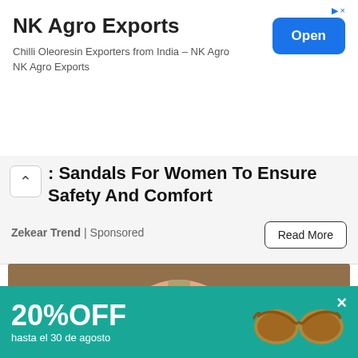[Figure (screenshot): Top banner advertisement for NK Agro Exports showing company name, description text 'Chilli Oleoresin Exporters from India – NK Agro / NK Agro Exports', and a blue 'Open' button on the right. A small arrow icon is at top right.]
Sandals For Women To Ensure Safety And Comfort
Zekear Trend | Sponsored
[Figure (photo): A hand holding a white light bulb-shaped camera device with a camera lens and LED lights visible on the front, against a wooden background.]
[Figure (screenshot): Bottom banner advertisement showing '20% OFF hasta el 30 de agosto' on a teal/green background with an image of sunglasses on the right and a close X button.]